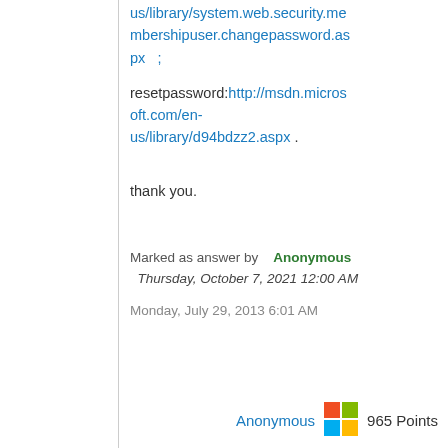us/library/system.web.security.membershipuser.changepassword.aspx ;
resetpassword:http://msdn.microsoft.com/en-us/library/d94bdzz2.aspx .
thank you.
Marked as answer by   Anonymous
Thursday, October 7, 2021 12:00 AM
Monday, July 29, 2013 6:01 AM
Anonymous   965 Points